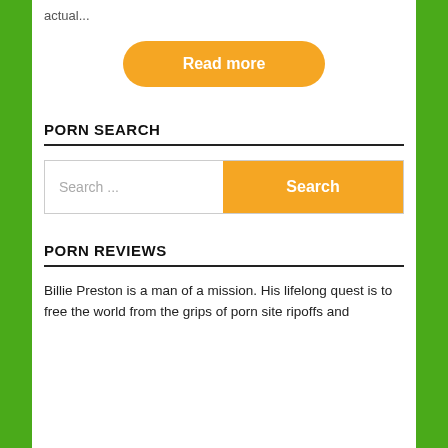actual...
[Figure (other): Orange pill-shaped 'Read more' button]
PORN SEARCH
[Figure (other): Search bar with text 'Search ...' and orange 'Search' button]
PORN REVIEWS
Billie Preston is a man of a mission. His lifelong quest is to free the world from the grips of porn site ripoffs and